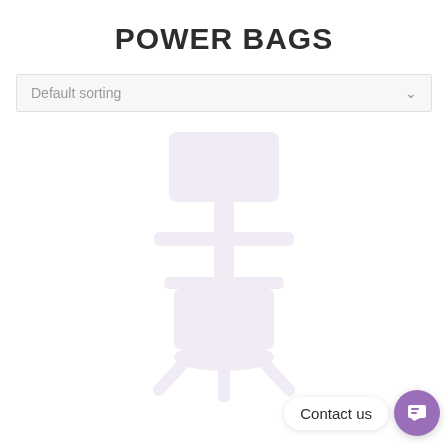POWER BAGS
Default sorting
[Figure (illustration): Faint watermark-style illustration of a bag or product on a stand, very light purple/grey color, centered in the lower portion of the page]
Contact us